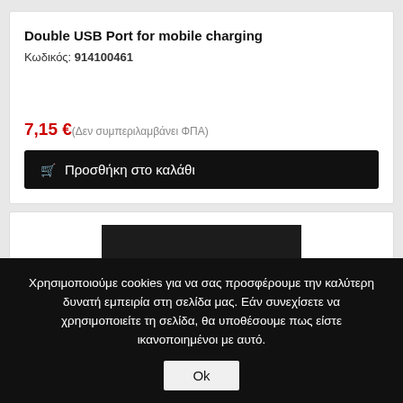Double USB Port for mobile charging
Κωδικός: 914100461
7,15 €(Δεν συμπεριλαμβάνει ΦΠΑ)
🛒  Προσθήκη στο καλάθι
[Figure (photo): Photo of a car windshield/dashboard area showing a price sticker with 18400 in red text, and small label tags reading EU-F, ALLE, KLI]
Χρησιμοποιούμε cookies για να σας προσφέρουμε την καλύτερη δυνατή εμπειρία στη σελίδα μας. Εάν συνεχίσετε να χρησιμοποιείτε τη σελίδα, θα υποθέσουμε πως είστε ικανοποιημένοι με αυτό.
Ok